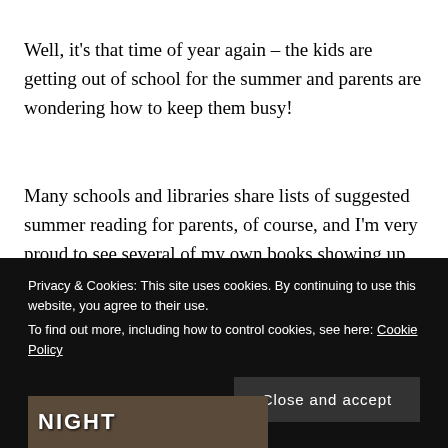Well, it's that time of year again – the kids are getting out of school for the summer and parents are wondering how to keep them busy!
Many schools and libraries share lists of suggested summer reading for parents, of course, and I'm very proud to see several of my own books showing up on these reading lists and blogs.
Privacy & Cookies: This site uses cookies. By continuing to use this website, you agree to their use. To find out more, including how to control cookies, see here: Cookie Policy
[Figure (photo): Partial view of a book cover showing the word NIGHT at the bottom left, against a dark background with some imagery.]